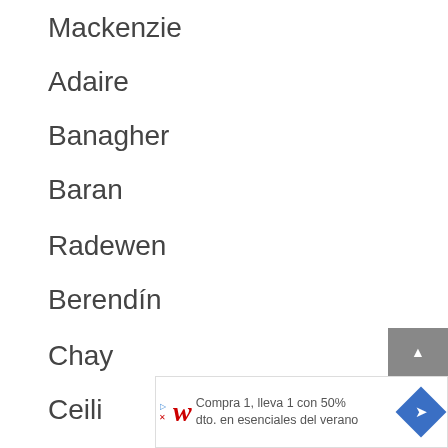Mackenzie
Adaire
Banagher
Baran
Radewen
Berendín
Chay
Ceili
[Figure (other): Advertisement banner: Walgreens ad in Spanish reading 'Compra 1, lleva 1 con 50% dto. en esenciales del verano' with Walgreens logo and navigation arrow icon]